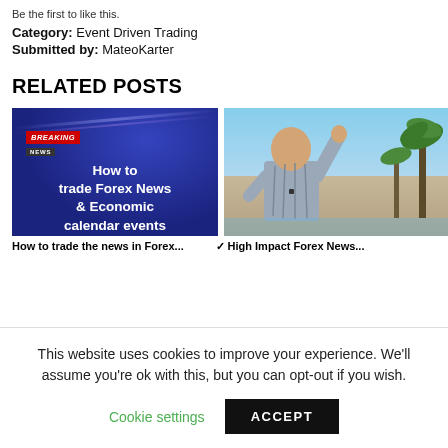Be the first to like this.
Category: Event Driven Trading
Submitted by: MateoKarter
RELATED POSTS
[Figure (screenshot): Thumbnail image with dark blue background showing 'BREAKING NEWS' badge and text: 'How to trade Forex News & Economic calendar events']
[Figure (photo): Photo of a man raising his hand outdoors near a pool with palm trees in background]
How to trade the news in Forex...
✓ High Impact Forex News...
This website uses cookies to improve your experience. We'll assume you're ok with this, but you can opt-out if you wish.
Cookie settings
ACCEPT